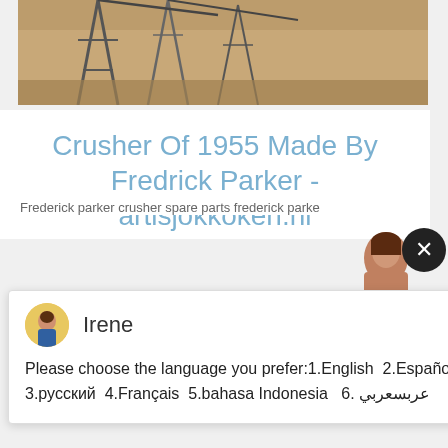[Figure (photo): Construction scaffolding or mining equipment structure in a sandy/desert landscape]
Crusher Of 1955 Made By Fredrick Parker - artisjokkoken.nl
Frederick parker crusher spare parts frederick parke
[Figure (screenshot): Chat popup with avatar of Irene and language selection message: Please choose the language you prefer:1.English 2.Español 3.русский 4.Français 5.bahasa Indonesia 6. عربسعربي]
[Figure (photo): Open pit mining scene with yellow heavy machinery and mountain landscape]
Have any requests, click here
Enquiry
limingjlmofen@sina.com